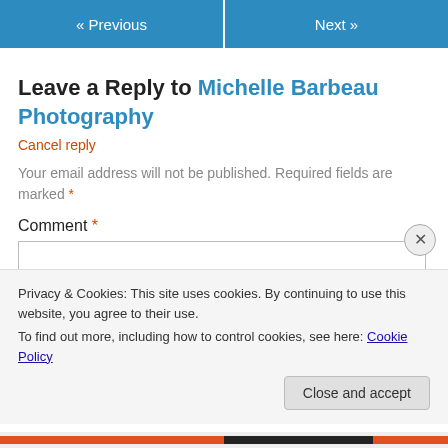« Previous   Next »
Leave a Reply to Michelle Barbeau Photography
Cancel reply
Your email address will not be published. Required fields are marked *
Comment *
[Figure (screenshot): Comment text input box (empty)]
Privacy & Cookies: This site uses cookies. By continuing to use this website, you agree to their use. To find out more, including how to control cookies, see here: Cookie Policy
Close and accept